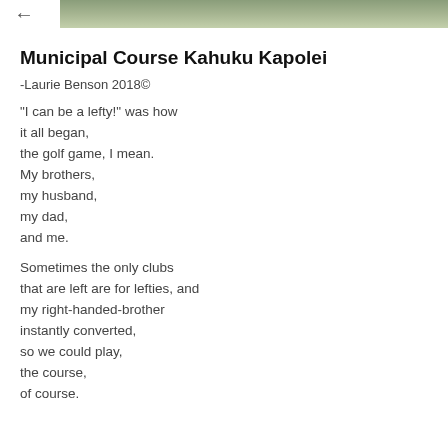[Figure (photo): Header photo of a green landscape, likely a golf course, partially visible at the top of the page]
Municipal Course Kahuku Kapolei
-Laurie Benson 2018©
"I can be a lefty!" was how
it all began,
the golf game, I mean.
My brothers,
my husband,
my dad,
and me.
Sometimes the only clubs
that are left are for lefties, and
my right-handed-brother
instantly converted,
so we could play,
the course,
of course.